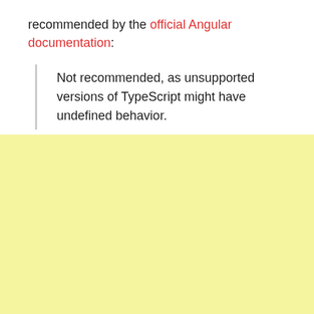recommended by the official Angular documentation:
Not recommended, as unsupported versions of TypeScript might have undefined behavior.
[Figure (other): Solid light yellow/cream colored background block filling the lower portion of the page]